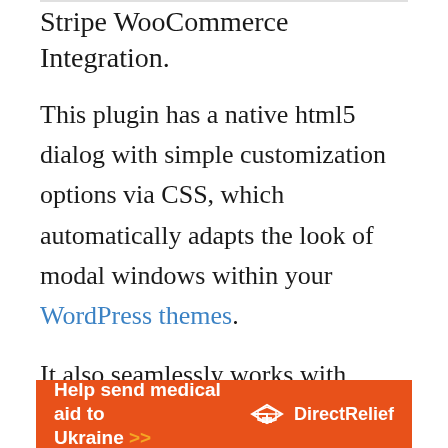Stripe WooCommerce Integration.
This plugin has a native html5 dialog with simple customization options via CSS, which automatically adapts the look of modal windows within your WordPress themes.
It also seamlessly works with Plaid; Plaid integration allows users to pay via logging in and using their bank username and password. What’s more, the plugin auto refunds via ACH Stripe and Plaid
[Figure (infographic): Orange banner advertisement: 'Help send medical aid to Ukraine >>' with DirectRelief logo on right side]